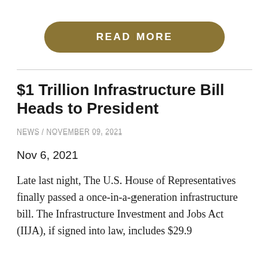[Figure (other): Gold/tan rounded button with text READ MORE in white uppercase bold letters]
$1 Trillion Infrastructure Bill Heads to President
NEWS / NOVEMBER 09, 2021
Nov 6, 2021
Late last night, The U.S. House of Representatives finally passed a once-in-a-generation infrastructure bill. The Infrastructure Investment and Jobs Act (IIJA), if signed into law, includes $29.9